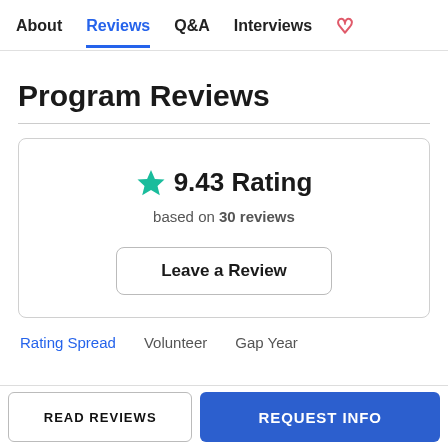About | Reviews | Q&A | Interviews
Program Reviews
9.43 Rating based on 30 reviews
Leave a Review
Rating Spread  Volunteer  Gap Year
READ REVIEWS
REQUEST INFO